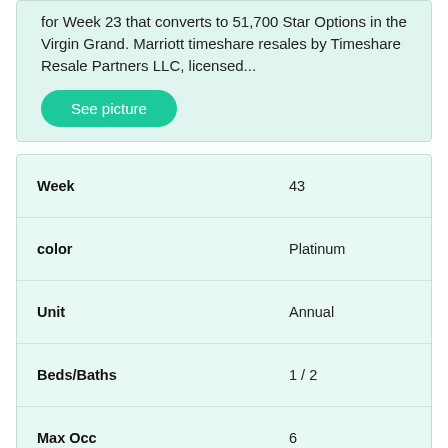for Week 23 that converts to 51,700 Star Options in the Virgin Grand. Marriott timeshare resales by Timeshare Resale Partners LLC, licensed...
See picture
| Week | 43 |
| color | Platinum |
| Unit | Annual |
| Beds/Baths | 1 / 2 |
| Max Occ | 6 |
| Sold |  |